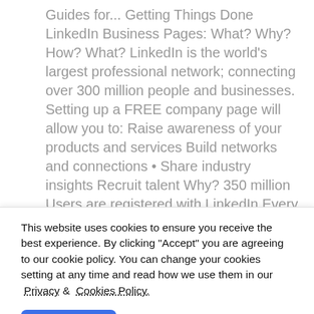Guides for... Getting Things Done LinkedIn Business Pages: What? Why? How? What? LinkedIn is the world's largest professional network; connecting over 300 million people and businesses. Setting up a FREE company page will allow you to: Raise awareness of your products and services Build networks and connections • Share industry insights Recruit talent Why? 350 million Users are registered with LinkedIn Every second, 2 people sign up. LinkedIn sends nearly four times more people to your homepage than Twitter or Facebook A properly managed LinkedIn business page can help you to: • Communicate with followers • Promote your Services Find leads • Discover potential employees How? 01 If
This website uses cookies to ensure you receive the best experience. By clicking "Accept" you are agreeing to our cookie policy. You can change your cookies setting at any time and read how we use them in our  Privacy &  Cookies Policy.
Accept
Learn more